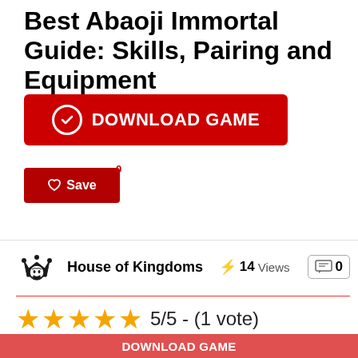Best Abaoji Immortal Guide: Skills, Pairing and Equipment
[Figure (other): Red download game button with checkmark icon and white text 'DOWNLOAD GAME']
[Figure (other): Red save button with heart icon and text 'Save', with red badge showing '0']
[Figure (other): House of Kingdoms author logo (crowned king figure)]
House of Kingdoms
14 Views
0
[Figure (other): Five gold stars rating]
5/5 - (1 vote)
Welcome to the best Abaoji Immortal guide for beginners in the Infinity Kingdom.